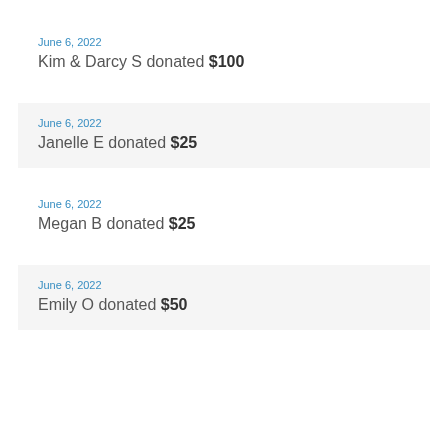June 6, 2022
Kim & Darcy S donated $100
June 6, 2022
Janelle E donated $25
June 6, 2022
Megan B donated $25
June 6, 2022
Emily O donated $50